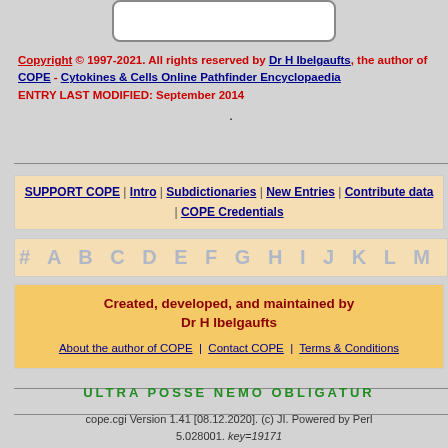[Figure (other): White rounded rectangle box at top center of page]
Copyright © 1997-2021. All rights reserved by Dr H Ibelgaufts, the author of COPE - Cytokines & Cells Online Pathfinder Encyclopaedia ENTRY LAST MODIFIED: September 2014
.
SUPPORT COPE | Intro | Subdictionaries | New Entries | Contribute data | COPE Credentials
# A B C D E F G H I J K L M N O
Created, developed, and maintained by Dr H Ibelgaufts
About the author of COPE | Contact COPE | Terms & Conditions
ULTRA POSSE NEMO OBLIGATUR
cope.cgi Version 1.41 [08.12.2020]. (c) JI. Powered by Perl 5.028001. key=19171